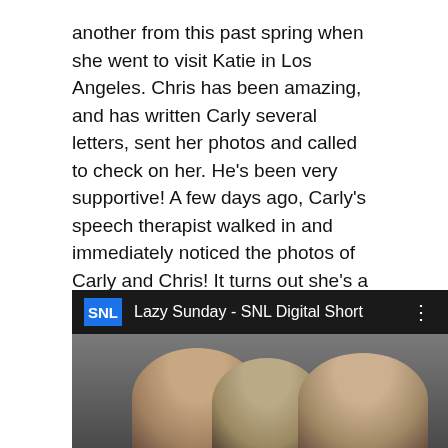another from this past spring when she went to visit Katie in Los Angeles. Chris has been amazing, and has written Carly several letters, sent her photos and called to check on her. He's been very supportive! A few days ago, Carly's speech therapist walked in and immediately noticed the photos of Carly and Chris! It turns out she's a huge fan of his. She immediately started talking about the Lazy Sunday Chronicles of Narnia video that he did a few years back on SNL, and Carly immediately perked up. She perked up so much that the speech therapist decided to use the beat from the rap in the video for part of Carly's therapy, and it ended up being one of Carly's better speech therapy sessions!
[Figure (screenshot): YouTube video thumbnail showing SNL logo and title 'Lazy Sunday - SNL Digital Short' with thumbnail of two people]